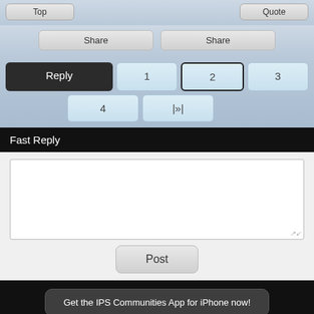[Figure (screenshot): Mobile forum interface showing Top and Quote buttons at top]
Share    Share
Reply  1  2  3  4  |»|
Fast Reply
[Figure (screenshot): Text area for fast reply input]
Post
Get the IPS Communities App for iPhone now!
Full Version    English (USA)